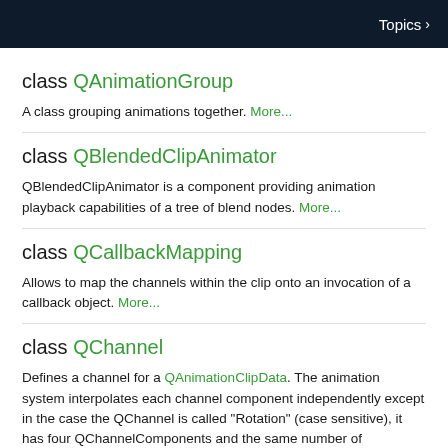Topics ›
class QAnimationGroup
A class grouping animations together. More...
class QBlendedClipAnimator
QBlendedClipAnimator is a component providing animation playback capabilities of a tree of blend nodes. More...
class QCallbackMapping
Allows to map the channels within the clip onto an invocation of a callback object. More...
class QChannel
Defines a channel for a QAnimationClipData. The animation system interpolates each channel component independently except in the case the QChannel is called "Rotation" (case sensitive), it has four QChannelComponents and the same number of keyframes for each QChannelComponent. In that case the interpolation will be performed